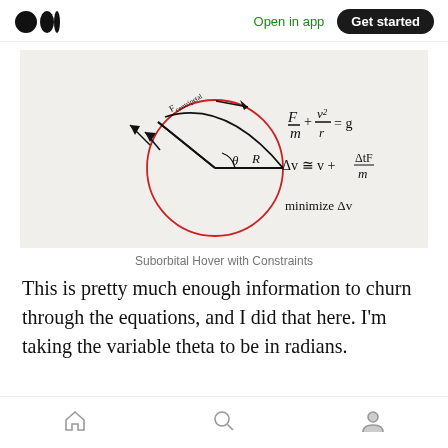Open in app | Get started
[Figure (photo): Handwritten physics diagram showing a circle with radius R, angle theta, and arc labeled with Fcentripetal arrows. Equations written: F/m + v²/r = g, Δv ≅ v + ΔtF/m, minimize Δv]
Suborbital Hover with Constraints
This is pretty much enough information to churn through the equations, and I did that here. I'm taking the variable theta to be in radians.
Home | Search | Profile